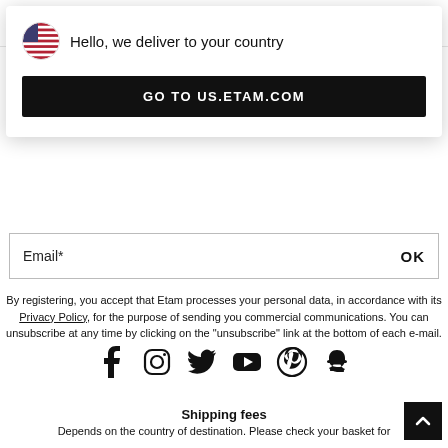Etam website navigation bar with hamburger menu and logo
[Figure (screenshot): Popup modal with US flag icon, text 'Hello, we deliver to your country', and a black button 'GO TO US.ETAM.COM']
Email*    OK
By registering, you accept that Etam processes your personal data, in accordance with its Privacy Policy, for the purpose of sending you commercial communications. You can unsubscribe at any time by clicking on the "unsubscribe" link at the bottom of each e-mail.
[Figure (other): Social media icons row: Facebook, Instagram, Twitter, YouTube, Pinterest, Snapchat]
Shipping fees
Depends on the country of destination. Please check your basket for